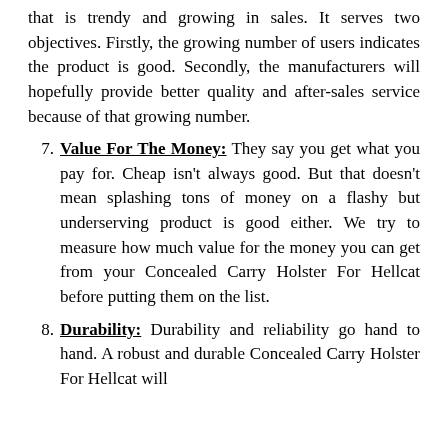that is trendy and growing in sales. It serves two objectives. Firstly, the growing number of users indicates the product is good. Secondly, the manufacturers will hopefully provide better quality and after-sales service because of that growing number.
7. Value For The Money: They say you get what you pay for. Cheap isn't always good. But that doesn't mean splashing tons of money on a flashy but underserving product is good either. We try to measure how much value for the money you can get from your Concealed Carry Holster For Hellcat before putting them on the list.
8. Durability: Durability and reliability go hand to hand. A robust and durable Concealed Carry Holster For Hellcat will